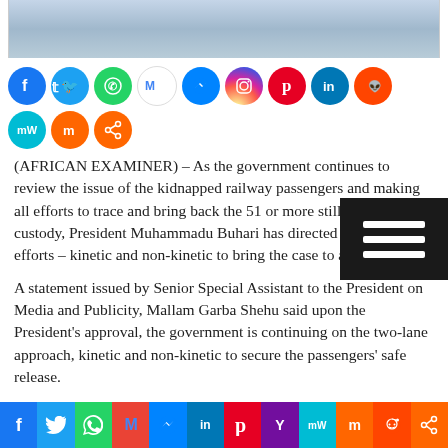[Figure (photo): Top portion of a photograph showing a person in a light blue outfit, cropped at shoulders/chest level]
[Figure (infographic): Row of social media sharing icons: Facebook, Twitter, WhatsApp, Gmail, Messenger, Instagram, Pinterest, LinkedIn, Reddit, MeWe, Mix, Share]
(AFRICAN EXAMINER) – As the government continues to review the issue of the kidnapped railway passengers and making all efforts to trace and bring back the 51 or more still being held in custody, President Muhammadu Buhari has directed increased efforts – kinetic and non-kinetic to bring the case to a closure.
A statement issued by Senior Special Assistant to the President on Media and Publicity, Mallam Garba Shehu said upon the President's approval, the government is continuing on the two-lane approach, kinetic and non-kinetic to secure the passengers' safe release.
The kidnappers made a demand for the release of their own children and upon the settlement of that issue, they let go eleven
[Figure (infographic): Bottom bar of social media sharing buttons: Facebook, Twitter, WhatsApp, Gmail, Messenger, LinkedIn, Pinterest, Yahoo, MeWe, Mix, Reddit, Share]